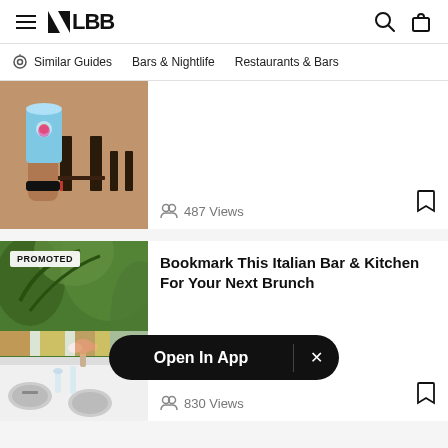LBB — Similar Guides | Bars & Nightlife | Restaurants & Bars
Similar Guides   Bars & Nightlife   Restaurants & Bars
[Figure (photo): Hand holding a large branded cup inside a restaurant with brick walls and dark chairs]
487 Views
[Figure (photo): Outdoor patio dining area with striped cushions, flowers on white table, lush greenery background; PROMOTED badge]
Bookmark This Italian Bar & Kitchen For Your Next Brunch
830 Views
Open In App